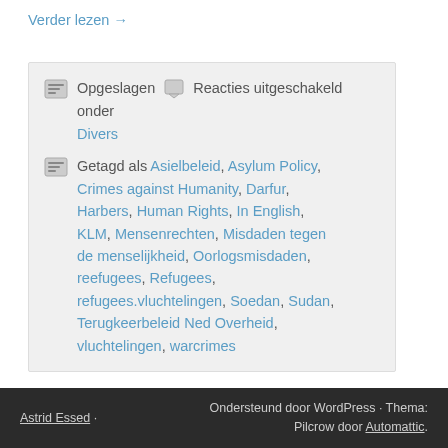Verder lezen →
Opgeslagen  Reacties uitgeschakeld onder Divers
Getagd als Asielbeleid, Asylum Policy, Crimes against Humanity, Darfur, Harbers, Human Rights, In English, KLM, Mensenrechten, Misdaden tegen de menselijkheid, Oorlogsmisdaden, reefugees, Refugees, refugees.vluchtelingen, Soedan, Sudan, Terugkeerbeleid Ned Overheid, vluchtelingen, warcrimes
Astrid Essed · Ondersteund door WordPress · Thema: Pilcrow door Automattic.